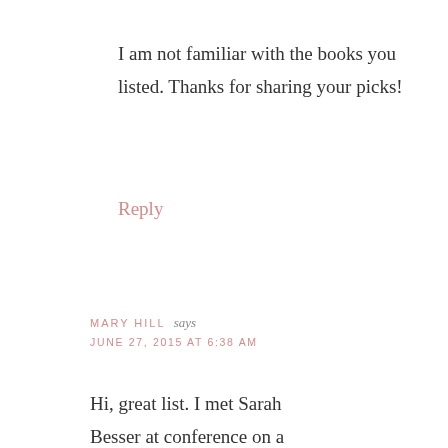I am not familiar with the books you listed. Thanks for sharing your picks!
Reply
MARY HILL says
JUNE 27, 2015 AT 6:38 AM
Hi, great list. I met Sarah Besser at conference on a